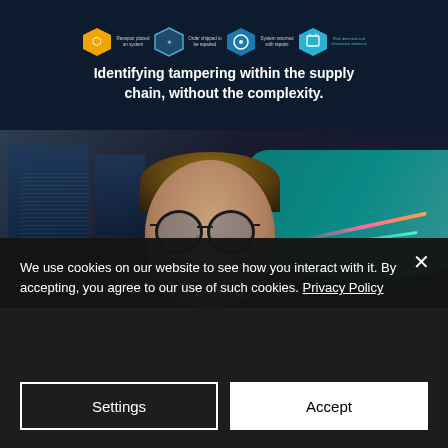[Figure (infographic): Dark navy infographic banner showing a supply chain process with hexagonal icons (receptor placed on system, order shipped to be repaired, system returned with repairs, risk connected) and bold white text reading 'Identifying tampering within the supply chain, without the complexity.']
[Figure (photo): Photo of a young woman wearing glasses, looking at screens in a dark setting. Teal/cyan world map visible on monitors in the background. Technology/cybersecurity context.]
We use cookies on our website to see how you interact with it. By accepting, you agree to our use of such cookies. Privacy Policy